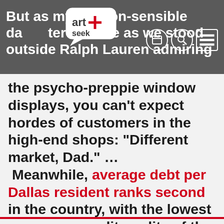But as my fashion-sensible daughter told me as we stood outside Ralph Lauren admiring
the psycho-preppie window displays, you can't expect hordes of customers in the high-end shops: “Different market, Dad.” … Meanwhile, average debt per Dallas resident ranks second in the country, with the lowest consumer credit quality of the nation’s largest metro areas.